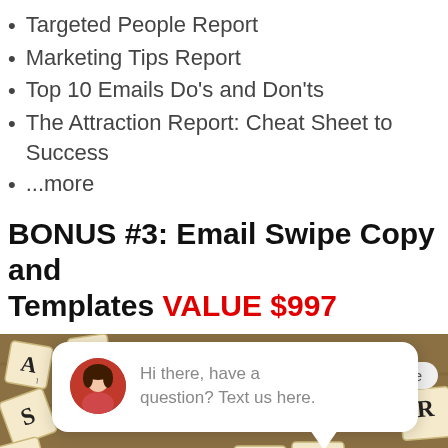Targeted People Report
Marketing Tips Report
Top 10 Emails Do's and Don'ts
The Attraction Report: Cheat Sheet to Success
...more
BONUS #3: Email Swipe Copy and Templates VALUE $997
[Figure (photo): Scrabble tiles spelling EMAIL on a wooden surface, with a chat popup overlay showing a woman's avatar and the message 'Hi there, have a question? Text us here.' along with a close button and a blue chat FAB icon.]